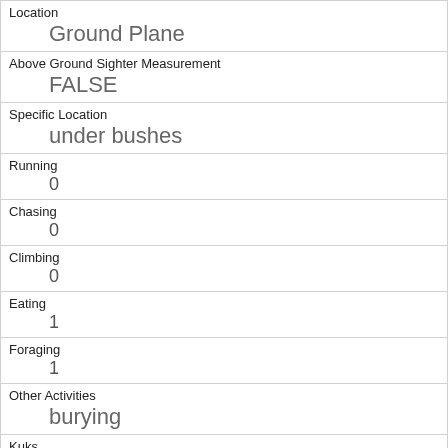| Location | Ground Plane |
| Above Ground Sighter Measurement | FALSE |
| Specific Location | under bushes |
| Running | 0 |
| Chasing | 0 |
| Climbing | 0 |
| Eating | 1 |
| Foraging | 1 |
| Other Activities | burying |
| Kuks | 0 |